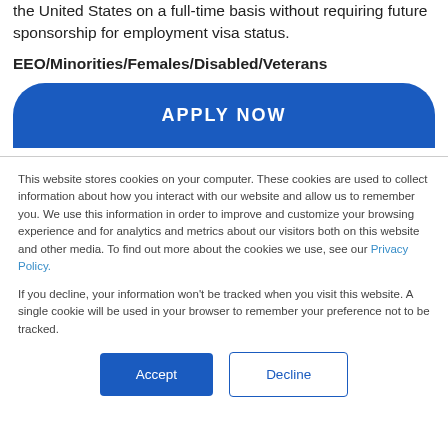the United States on a full-time basis without requiring future sponsorship for employment visa status.
EEO/Minorities/Females/Disabled/Veterans
APPLY NOW
This website stores cookies on your computer. These cookies are used to collect information about how you interact with our website and allow us to remember you. We use this information in order to improve and customize your browsing experience and for analytics and metrics about our visitors both on this website and other media. To find out more about the cookies we use, see our Privacy Policy.
If you decline, your information won't be tracked when you visit this website. A single cookie will be used in your browser to remember your preference not to be tracked.
Accept
Decline